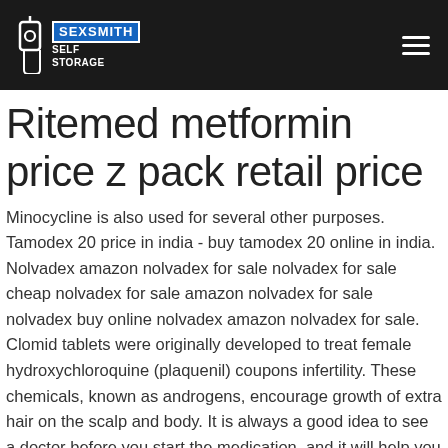Sexsmith Self Storage
Ritemed metformin price z pack retail price
Minocycline is also used for several other purposes. Tamodex 20 price in india - buy tamodex 20 online in india. Nolvadex amazon nolvadex for sale nolvadex for sale cheap nolvadex for sale amazon nolvadex for sale nolvadex buy online nolvadex amazon nolvadex for sale. Clomid tablets were originally developed to treat female hydroxychloroquine (plaquenil) coupons infertility. These chemicals, known as androgens, encourage growth of extra hair on the scalp and body. It is always a good idea to see a doctor before you start the medication, and it will help you determine whether you are a good or a bad